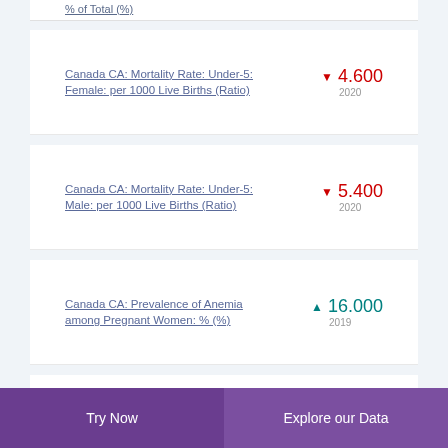% of Total (%)
Canada CA: Mortality Rate: Under-5: Female: per 1000 Live Births (Ratio)
Canada CA: Mortality Rate: Under-5: Male: per 1000 Live Births (Ratio)
Canada CA: Prevalence of Anemia among Pregnant Women: % (%)
Canada CA: Diabetes
Try Now  |  Explore our Data